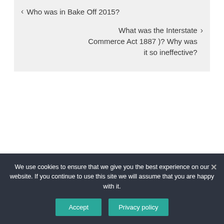< Who was in Bake Off 2015?
What was the Interstate Commerce Act 1887 )? Why was it so ineffective? >
We use cookies to ensure that we give you the best experience on our website. If you continue to use this site we will assume that you are happy with it.
Accept
Privacy policy